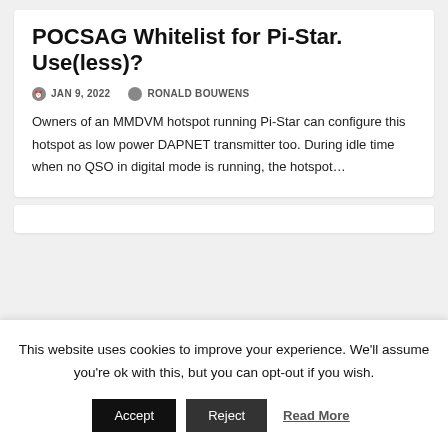POCSAG Whitelist for Pi-Star. Use(less)?
JAN 9, 2022   RONALD BOUWENS
Owners of an MMDVM hotspot running Pi-Star can configure this hotspot as low power DAPNET transmitter too. During idle time when no QSO in digital mode is running, the hotspot…
This website uses cookies to improve your experience. We'll assume you're ok with this, but you can opt-out if you wish.